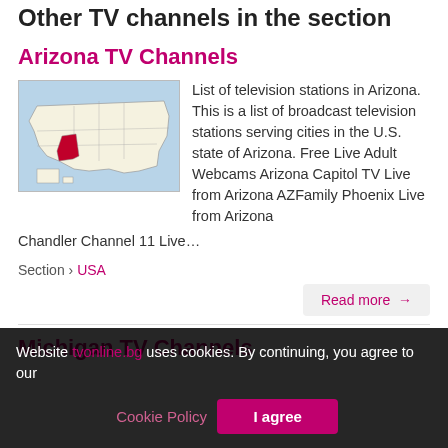Other TV channels in the section
Arizona TV Channels
[Figure (map): Map of the United States with Arizona highlighted in red]
List of television stations in Arizona. This is a list of broadcast television stations serving cities in the U.S. state of Arizona. Free Live Adult Webcams Arizona Capitol TV Live from Arizona AZFamily Phoenix Live from Arizona Chandler Channel 11 Live...
Section › USA
Read more →
Michigan TV Channels
Website tvonline.bg uses cookies. By continuing, you agree to our
Cookie Policy   I agree